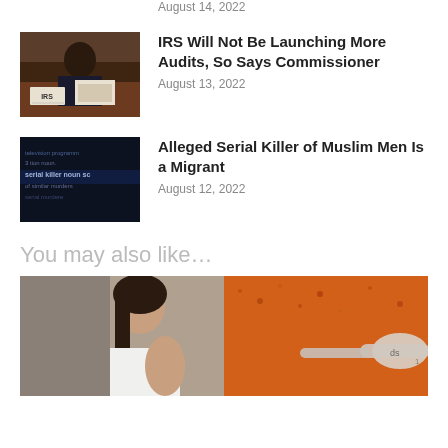August 14, 2022
[Figure (photo): Person in business attire at desk with IRS sign]
IRS Will Not Be Launching More Audits, So Says Commissioner
August 13, 2022
[Figure (photo): Dictionary definition of serial killer on dark background]
Alleged Serial Killer of Muslim Men Is a Migrant
August 12, 2022
You may also like…
[Figure (photo): Woman in white top on left, spices with measuring spoon on right]